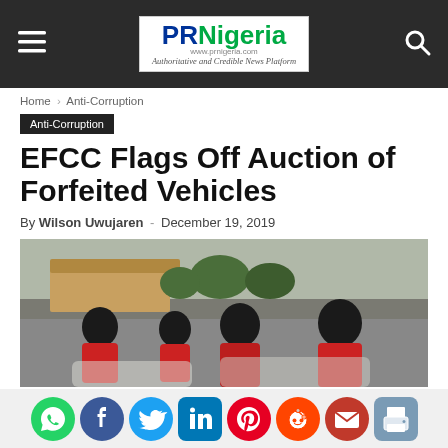PR Nigeria — Authoritative and Credible News Platform
Home › Anti-Corruption
Anti-Corruption
EFCC Flags Off Auction of Forfeited Vehicles
By Wilson Uwujaren - December 19, 2019
[Figure (photo): Group of men in red shirts gathered near vehicles at EFCC auction event]
[Figure (infographic): Social sharing icons: WhatsApp, Facebook, Twitter, LinkedIn, Pinterest, Reddit, Email, Print]